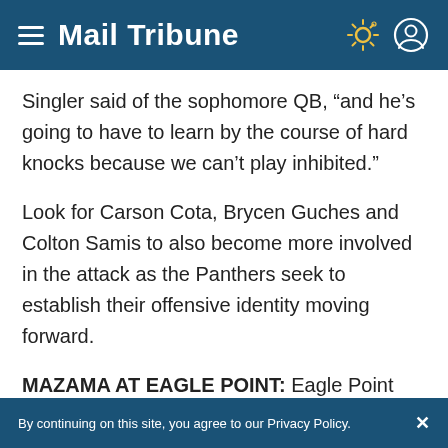Mail Tribune
Singler said of the sophomore QB, “and he’s going to have to learn by the course of hard knocks because we can’t play inhibited.”
Look for Carson Cota, Brycen Guches and Colton Samis to also become more involved in the attack as the Panthers seek to establish their offensive identity moving forward.
MAZAMA AT EAGLE POINT: Eagle Point only had a few days to prepare for its season opener
By continuing on this site, you agree to our Privacy Policy.